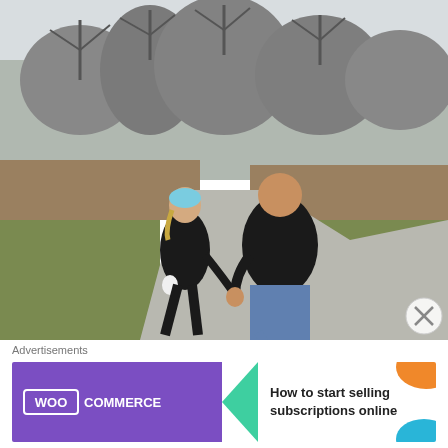[Figure (photo): Two people walking hand-in-hand away from camera on a paved park path, surrounded by bare winter trees and brown grass. One person wears a light blue cap and black jacket; the other wears a dark jacket and jeans.]
Advertisements
[Figure (illustration): WooCommerce advertisement banner: purple left panel with WooCommerce logo, green arrow pointing left, white right panel with text 'How to start selling subscriptions online', orange and teal decorative blobs in corners.]